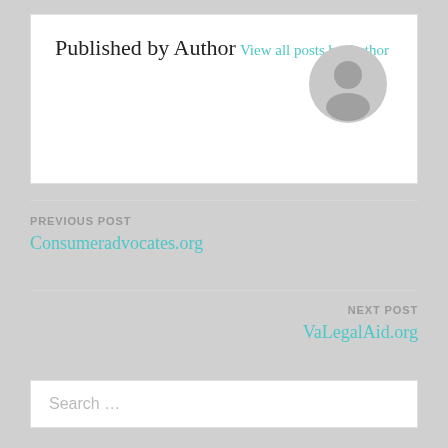Published by Author
View all posts by Author
PREVIOUS POST
Consumeradvocates.org
NEXT POST
VaLegalAid.org
Search …